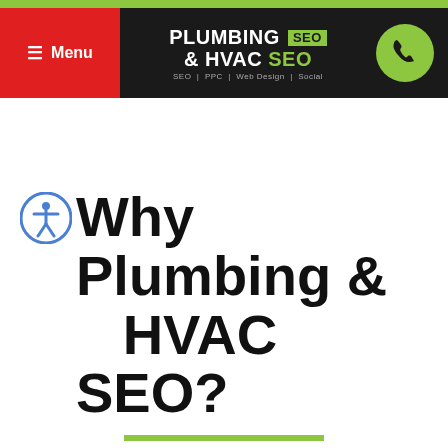Menu | PLUMBING & HVAC SEO | SEO | PPC | Web Design | Social
Why Plumbing & HVAC SEO?
Over 300 Plumbing & HVAC companies served and 20,000 leads generated monthly.